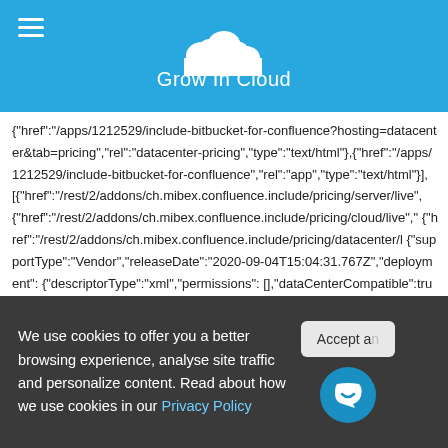Grow In Cloud
{"href":"/apps/1212529/include-bitbucket-for-confluence?hosting=datacenter&tab=pricing","rel":"datacenter-pricing","type":"text/html"},{"href":"/apps/1212529/include-bitbucket-for-confluence","rel":"app","type":"text/html"}], [{"href":"/rest/2/addons/ch.mibex.confluence.include/pricing/server/live", {"href":"/rest/2/addons/ch.mibex.confluence.include/pricing/cloud/live", {"href":"/rest/2/addons/ch.mibex.confluence.include/pricing/datacenter/l {"supportType":"Vendor","releaseDate":"2020-09-04T15:04:31.767Z","deployment": {"descriptorType":"xml","permissions": [,"dataCenterCompatible":true,"remote":false},"deployable":true,"market
We use cookies to offer you a better browsing experience, analyse site traffic and personalize content. Read about how we use cookies in our Privacy Policy